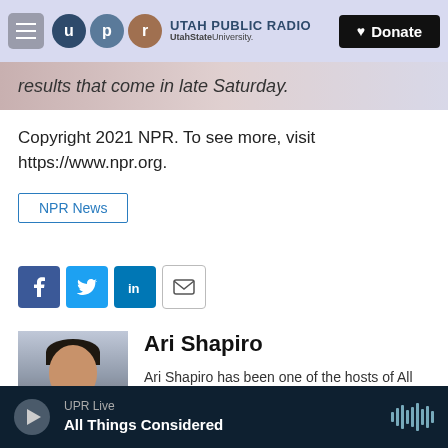Utah Public Radio | UtahStateUniversity. | Donate
results that come in late Saturday.
Copyright 2021 NPR. To see more, visit https://www.npr.org.
NPR News
[Figure (infographic): Social sharing icons: Facebook, Twitter, LinkedIn, Email]
[Figure (photo): Headshot photo of Ari Shapiro]
Ari Shapiro
Ari Shapiro has been one of the hosts of All Things Considered NPR and...
UPR Live | All Things Considered